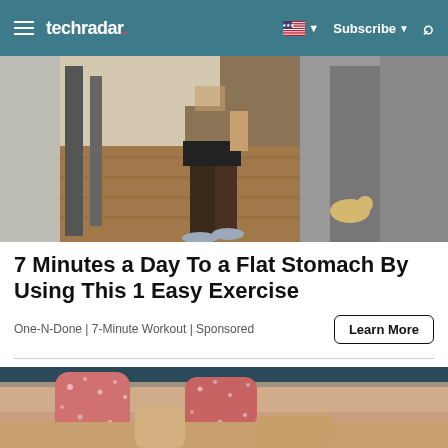techradar | Subscribe | Search
[Figure (photo): Person standing in a hallway wearing black shorts and athletic shoes, showing fitness/workout pose]
7 Minutes a Day To a Flat Stomach By Using This 1 Easy Exercise
One-N-Done | 7-Minute Workout | Sponsored
[Figure (photo): Close-up of sugary gummy candies held between fingers]